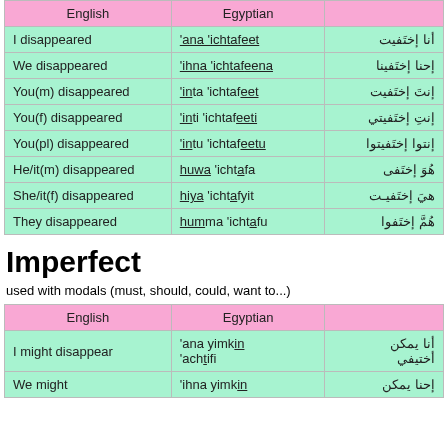| English | Egyptian |  |
| --- | --- | --- |
| I disappeared | 'ana 'ichtafeet | أنا‎ إختَفيت |
| We disappeared | 'ihna 'ichtafeena | إحنا‎ إختَفينا |
| You(m) disappeared | 'inta 'ichtafeet | إنتَ‎ إختَفيت |
| You(f) disappeared | 'inti 'ichtafeeti | إنتِ‎ إختَفيتي |
| You(pl) disappeared | 'intu 'ichtafeetu | إنتوا إختَفيتوا |
| He/it(m) disappeared | huwa 'ichtafa | هُوَ‎ إختَفى |
| She/it(f) disappeared | hiya 'ichtafyit | هيَ‎ إختَفيـت |
| They disappeared | humma 'ichtafu | هُمَّ‎ إختَفوا |
Imperfect
used with modals (must, should, could, want to...)
| English | Egyptian |  |
| --- | --- | --- |
| I might disappear | 'ana yimkin 'achtifi | أنا‎ يمكن أختيفي |
| We might | 'ihna yimkin | إحنا‎ يمكن |